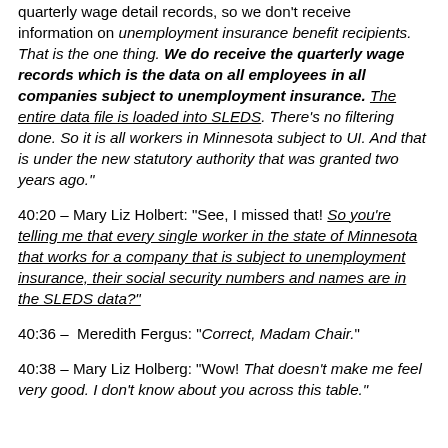quarterly wage detail records, so we don't receive information on unemployment insurance benefit recipients. That is the one thing. We do receive the quarterly wage records which is the data on all employees in all companies subject to unemployment insurance. The entire data file is loaded into SLEDS. There's no filtering done. So it is all workers in Minnesota subject to UI. And that is under the new statutory authority that was granted two years ago."
40:20 – Mary Liz Holbert: "See, I missed that! So you're telling me that every single worker in the state of Minnesota that works for a company that is subject to unemployment insurance, their social security numbers and names are in the SLEDS data?"
40:36 – Meredith Fergus: "Correct, Madam Chair."
40:38 – Mary Liz Holberg: "Wow! That doesn't make me feel very good. I don't know about you across this table."